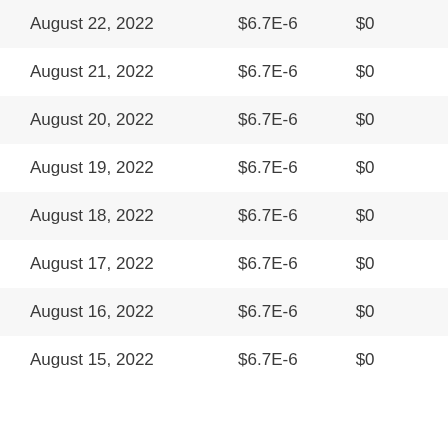| August 22, 2022 | $6.7E-6 | $0 |
| August 21, 2022 | $6.7E-6 | $0 |
| August 20, 2022 | $6.7E-6 | $0 |
| August 19, 2022 | $6.7E-6 | $0 |
| August 18, 2022 | $6.7E-6 | $0 |
| August 17, 2022 | $6.7E-6 | $0 |
| August 16, 2022 | $6.7E-6 | $0 |
| August 15, 2022 | $6.7E-6 | $0 |